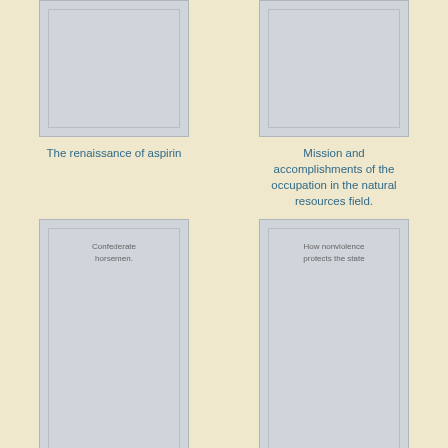[Figure (illustration): Partial book cover top-left, gray placeholder with inner border]
The renaissance of aspirin
[Figure (illustration): Partial book cover top-right, gray placeholder with inner border]
Mission and accomplishments of the occupation in the natural resources field.
[Figure (illustration): Full book cover bottom-left, gray with text 'Confederate horsemen.' inside]
Confederate horsemen.
[Figure (illustration): Full book cover bottom-right, gray with text 'How nonviolence protects the state' inside]
How nonviolence protects the state